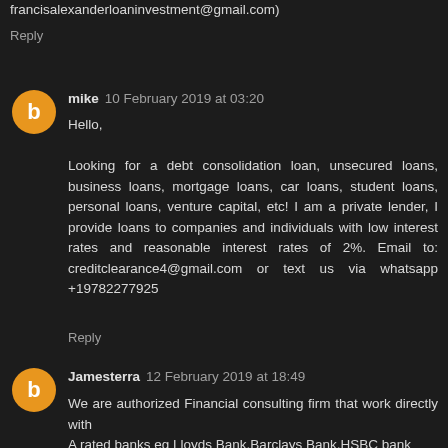francisalexanderloaninvestment@gmail.com)
Reply
mike  10 February 2019 at 03:20
Hello,

Looking for a debt consolidation loan, unsecured loans, business loans, mortgage loans, car loans, student loans, personal loans, venture capital, etc! I am a private lender, I provide loans to companies and individuals with low interest rates and reasonable interest rates of 2%. Email to: creditclearance4@gmail.com or text us via whatsapp +19782277925
Reply
Jamesterra  12 February 2019 at 18:49
We are authorized Financial consulting firm that work directly with
A rated banks eg Lloyds Bank,Barclays Bank,HSBC bank